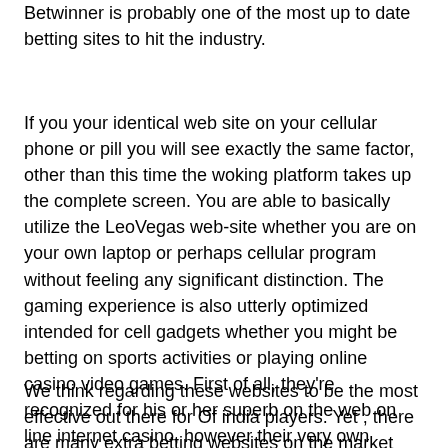Betwinner is probably one of the most up to date betting sites to hit the industry.
If you your identical web site on your cellular phone or pill you will see exactly the same factor, other than this time the woking platform takes up the complete screen. You are able to basically utilize the LeoVegas web-site whether you are on your own laptop or perhaps cellular program without feeling any significant distinction. The gaming experience is also utterly optimized intended for cell gadgets whether you might be betting on sports activities or playing online casino video games. First of all, they're recognized for his or her superb on the web on line internet casino, however their very own sportsbook can be very extremely appreciated by many gamers. Especially due to the fact that they give odds make sure.
We think regarding these websites to be the most effective out there for Of india players. Yet , there are many extra betting websites on the market that settle for American